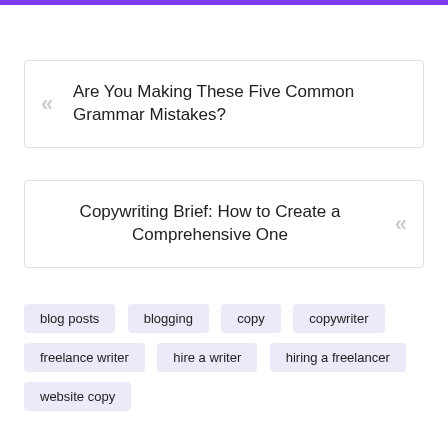Are You Making These Five Common Grammar Mistakes?
Copywriting Brief: How to Create a Comprehensive One
blog posts
blogging
copy
copywriter
freelance writer
hire a writer
hiring a freelancer
website copy